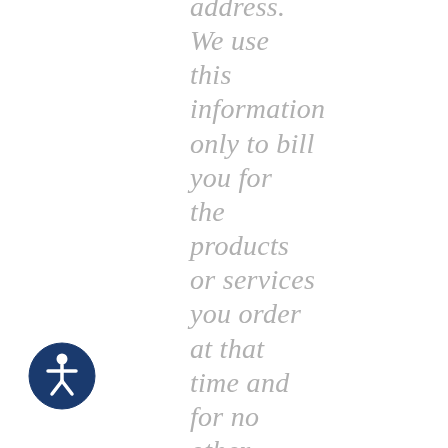address. We use this information only to bill you for the products or services you order at that time and for no other purpose. Annual subscriptions are
[Figure (illustration): Accessibility icon: a circular dark blue button with a white person/wheelchair accessibility symbol inside]